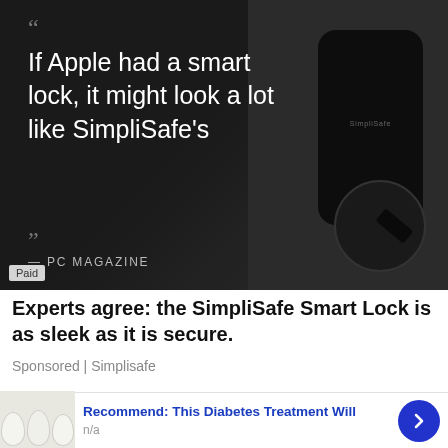[Figure (photo): Dark advertisement image showing a black smart lock device. Overlaid quote text reads: 'If Apple had a smart lock, it might look a lot like SimpliSafe's' attributed to PC MAGAZINE. A 'Paid' badge in bottom-left corner.]
Experts agree: the SimpliSafe Smart Lock is as sleek as it is secure.
Sponsored | Simplisafe
[Figure (photo): Partially visible second advertisement strip image at the bottom of the page showing a person outdoors.]
Recommend: This Diabetes Treatment Will
n/a